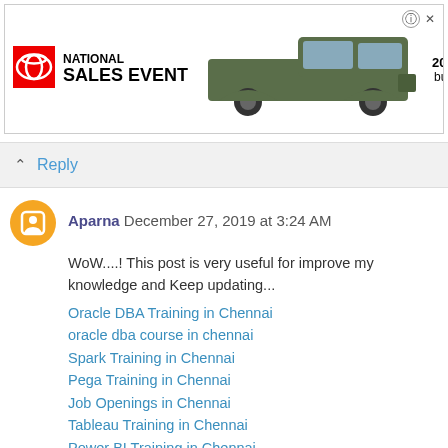[Figure (other): Toyota National Sales Event advertisement banner featuring a green Tacoma truck. Text: '2022 TACOMA buyatoyota.com']
Reply
Aparna  December 27, 2019 at 3:24 AM
WoW....! This post is very useful for improve my knowledge and Keep updating...
Oracle DBA Training in Chennai
oracle dba course in chennai
Spark Training in Chennai
Pega Training in Chennai
Job Openings in Chennai
Tableau Training in Chennai
Power BI Training in Chennai
Linux Training in Chennai
Primavera Training in Chennai
Corporate Training in Chennai
Oracle DBA Training in Anna Nagar